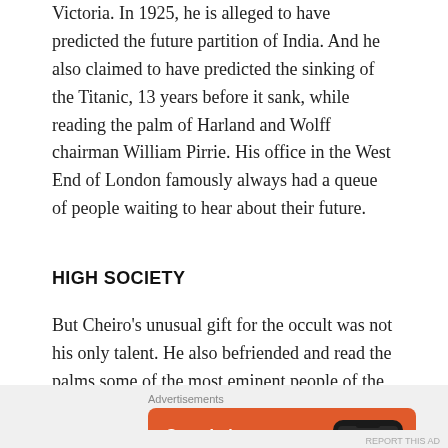Victoria. In 1925, he is alleged to have predicted the future partition of India. And he also claimed to have predicted the sinking of the Titanic, 13 years before it sank, while reading the palm of Harland and Wolff chairman William Pirrie. His office in the West End of London famously always had a queue of people waiting to hear about their future.
HIGH SOCIETY
But Cheiro's unusual gift for the occult was not his only talent. He also befriended and read the palms some of the most eminent people of the day. Some of his clients included King Edward VII, General
Advertisements
[Figure (screenshot): DuckDuckGo advertisement banner with orange background. Text reads 'Search, browse, and email with more privacy. All in One Free App' with a DuckDuckGo logo and a phone mockup on the right side.]